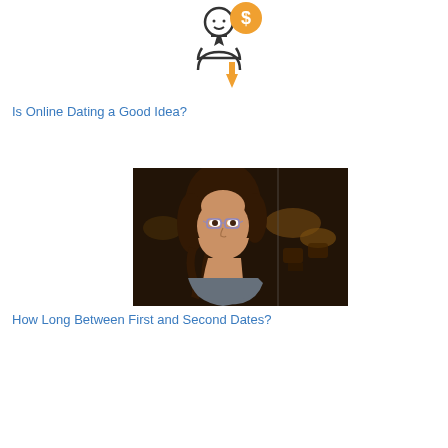[Figure (illustration): Icon of a person/figure with a dollar sign badge and an upward orange arrow, drawn in outline style]
Is Online Dating a Good Idea?
[Figure (photo): A young woman with curly hair and glasses, resting her chin on her hand, photographed indoors in a dimly lit setting, looking pensive]
How Long Between First and Second Dates?